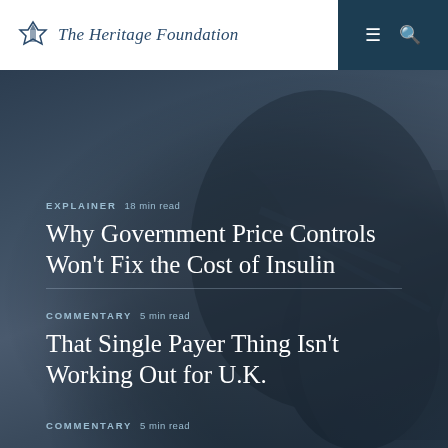The Heritage Foundation
EXPLAINER  18 min read
Why Government Price Controls Won’t Fix the Cost of Insulin
COMMENTARY  5 min read
That Single Payer Thing Isn’t Working Out for U.K.
COMMENTARY  5 min read